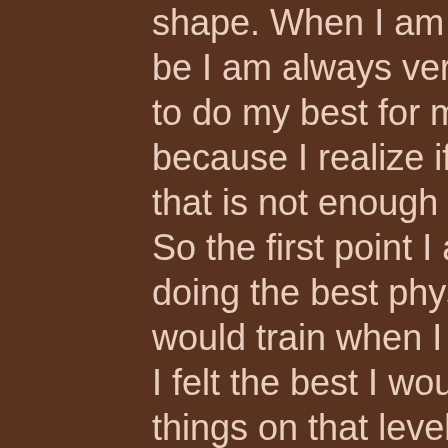shape. When I am in the best shape that I can be I am always very motivated, because I want to do my best for my team and also for myself because I realize if I don't do my best for myself that is not enough for myself, 4 months bulking. So the first point I am always doing is always doing the best physical body shape and then I would train when I felt the best shape and when I felt the best I would train and I would do other things on that level, so I just keep my body as good as I possibly can, and my preparation is really all about me so it is really a great thing that the body is going to know what you want to do first and then it will tell you how to do it, bulk supplements xylitol.
The second point is that when the body is telling you how to do it, then you are not doing it, bulking of sand at moisture content of about. You know you have to take it or leave it?